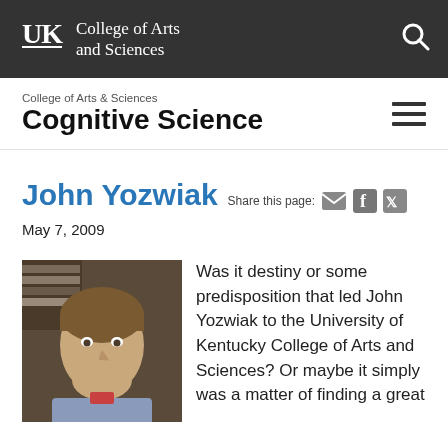UK College of Arts and Sciences
Cognitive Science
College of Arts & Sciences
John Yozwiak
Share this page:
May 7, 2009
[Figure (photo): Headshot photo of John Yozwiak, a man with short brown hair, smiling, with bookshelves in the background]
Was it destiny or some predisposition that led John Yozwiak to the University of Kentucky College of Arts and Sciences? Or maybe it simply was a matter of finding a great